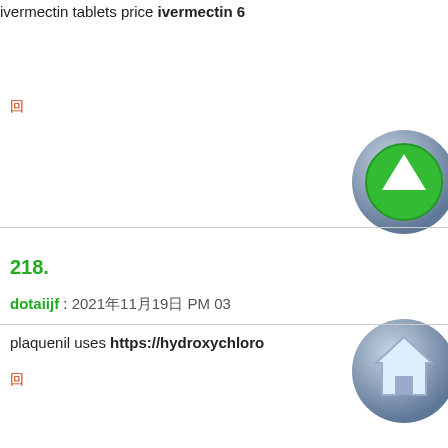ivermectin tablets price ivermectin 6
回
218.
dotaiijf : 2021年11月19日 PM 03
plaquenil uses https://hydroxychlorc
回
219.
AsbdfNerAlteme : 2021年11月20日
cialis street price price of cialis at w
回